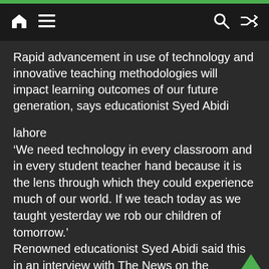Navigation bar with home, menu, search, and shuffle icons
Rapid advancement in use of technology and innovative teaching methodologies will impact learning outcomes of our future generation, says educationist Syed Abidi
lahore
‘We need technology in every classroom and in every student teacher hand because it is the lens through which they could experience much of our world. If we teach today as we taught yesterday we rob our children of tomorrow.’
Renowned educationist Syed Abidi said this in an interview with The News on the